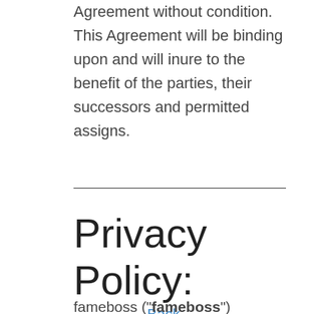Agreement without condition. This Agreement will be binding upon and will inure to the benefit of the parties, their successors and permitted assigns.
Back to top
Privacy Policy:
fameboss ("fameboss") operates